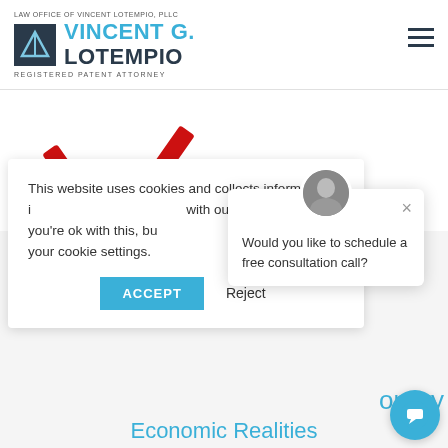LAW OFFICE OF VINCENT LOTEMPIO, PLLC — VINCENT G. LOTEMPIO — REGISTERED PATENT ATTORNEY
[Figure (photo): Partial view of a gift box with red ribbon on white background]
This website uses cookies and collects information in accordance with our privacy policy. We assume you're ok with this, but you can opt out by changing your cookie settings.
Would you like to schedule a free consultation call?
onary
Economic Realities